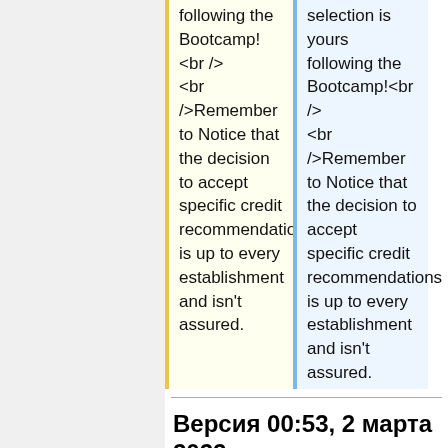following the Bootcamp!<br /><br />Remember to Notice that the decision to accept specific credit recommendations is up to every establishment and isn't assured.
selection is yours following the Bootcamp!<br /><br />Remember to Notice that the decision to accept specific credit recommendations is up to every establishment and isn't assured.
Версия 00:53, 2 марта 2022
It courses london Can Be Fun For Anyone
Like the IT Guidance Certification, no degree or related expertise is needed, and in the completion of the program